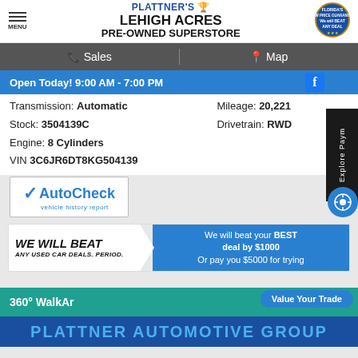PLATTNER'S LEHIGH ACRES PRE-OWNED SUPERSTORE | MENU | Florida's Low Price Guarantee - We will BEAT ANY DEAL
Sales | Map
Open Today! 9:00 AM - 7:00 PM
| Transmission: Automatic | Mileage: 20,221 |
| Stock: 3504139C | Drivetrain: RWD |
| Engine: 8 Cylinders |  |
| VIN 3C6JR6DT8KG504139 |  |
[Figure (logo): AutoCheck vehicle history report logo]
[Figure (infographic): WE WILL BEAT ANY USED CAR DEALS. PERIOD. | We will beat your BEST deal by $1000 Or pay you $5000 for trying]
360° WalkAround
Value Your Trade
[Figure (photo): PLATTNER AUTOMOTIVE GROUP banner image]